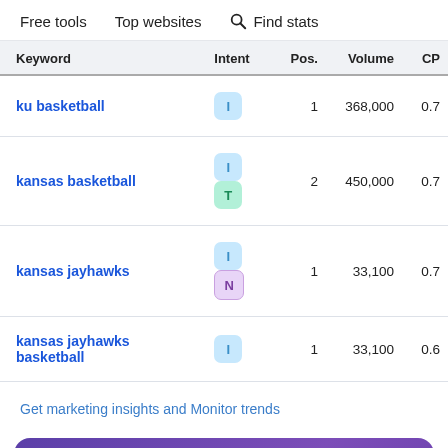Free tools   Top websites   🔍 Find stats
| Keyword | Intent | Pos. | Volume | CP |
| --- | --- | --- | --- | --- |
| ku basketball | I | 1 | 368,000 | 0.7 |
| kansas basketball | I T | 2 | 450,000 | 0.7 |
| kansas jayhawks | I N | 1 | 33,100 | 0.7 |
| kansas jayhawks basketball | I | 1 | 33,100 | 0.6 |
Get marketing insights and Monitor trends
Stay Ahead of the Competition with Up to Date Monthly Traffic